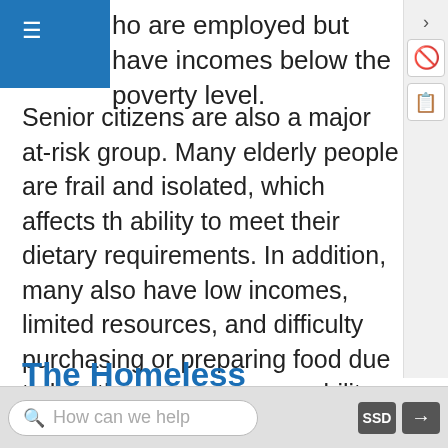ho are employed but have incomes below the poverty level.
Senior citizens are also a major at-risk group. Many elderly people are frail and isolated, which affects their ability to meet their dietary requirements. In addition, many also have low incomes, limited resources, and difficulty purchasing or preparing food due to health issues or poor mobility. As a result, more than six million senior citizens in the United States face the threat of hunger.Meals on Wheels. “Our Vision and Mission.” Accessed October 10, 2011. www.mowaa.org/page.aspx?pid=299
The Homeless